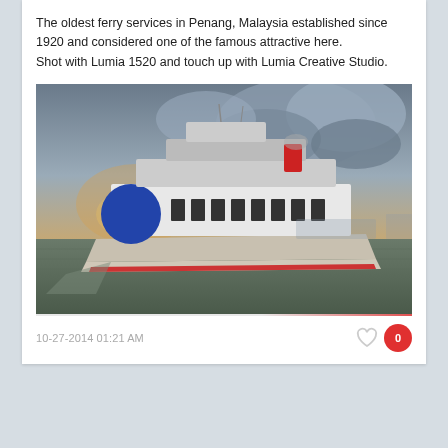The oldest ferry services in Penang, Malaysia established since 1920 and considered one of the famous attractive here.
Shot with Lumia 1520 and touch up with Lumia Creative Studio.
[Figure (photo): A Penang ferry boat on the water with a dramatic cloudy sunset sky in the background. The ferry is blue and white with a red funnel.]
10-27-2014 01:21 AM